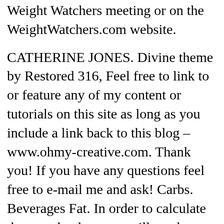Weight Watchers meeting or on the WeightWatchers.com website. CATHERINE JONES. Divine theme by Restored 316, Feel free to link to or feature any of my content or tutorials on this site as long as you include a link back to this blog – www.ohmy-creative.com. Thank you! If you have any questions feel free to e-mail me and ask! Carbs. Beverages Fat. In order to calculate the actual values you will need a SmartPoints calculator purchased through a Weight Watchers meeting or Weight Watchers Online. You can find all the Not Your Average Joes nutrition information including calories, fat, ... Exercise Calorie Calculator Thanks to all the people that have been using our Restaurant Submission Form to make it a lot easier for us to add to our ever-growing restaurant list. Pizza Average Joes...